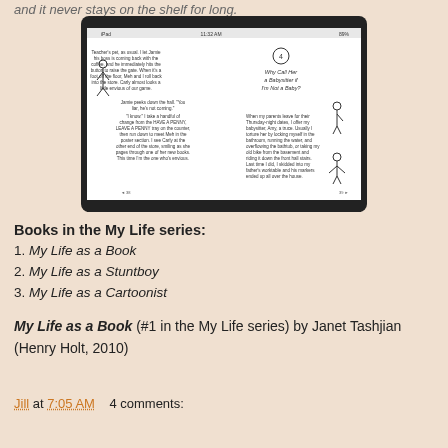and it never stays on the shelf for long.
[Figure (screenshot): iPad screenshot showing a two-page spread of a children's book. Left page has text and a stick-figure cartoon. Right page shows chapter title 'Why Call Her a Babysitter if I'm Not a Baby?' with text and a stick-figure illustration.]
Books in the My Life series:
1. My Life as a Book
2. My Life as a Stuntboy
3. My Life as a Cartoonist
My Life as a Book (#1 in the My Life series) by Janet Tashjian (Henry Holt, 2010)
Jill at 7:05 AM    4 comments: